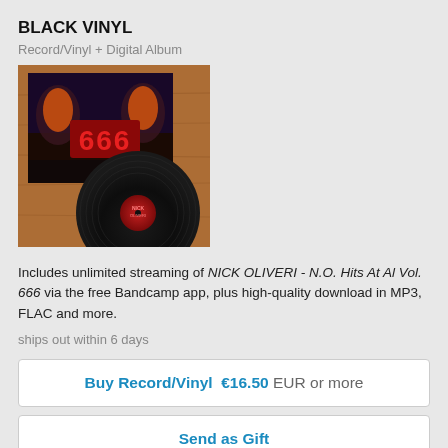BLACK VINYL
Record/Vinyl + Digital Album
[Figure (photo): Black vinyl record with colorful album cover artwork showing '666' in red letters with decorative figures, leaning against a wooden surface]
Includes unlimited streaming of NICK OLIVERI - N.O. Hits At Al Vol. 666 via the free Bandcamp app, plus high-quality download in MP3, FLAC and more.
ships out within 6 days
Buy Record/Vinyl  €16.50  EUR or more
Send as Gift
DIGIPAK
Compact Disc (CD) + Digital Album